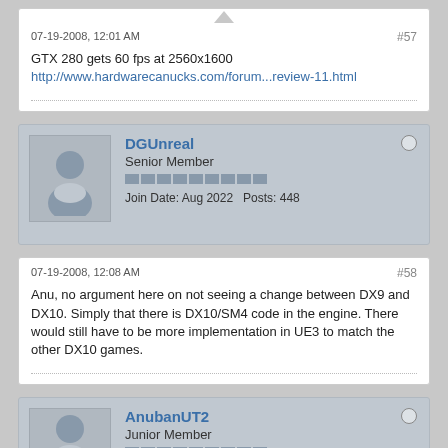07-19-2008, 12:01 AM
#57
GTX 280 gets 60 fps at 2560x1600
http://www.hardwarecanucks.com/forum...review-11.html
DGUnreal
Senior Member
Join Date: Aug 2022   Posts: 448
07-19-2008, 12:08 AM
#58
Anu, no argument here on not seeing a change between DX9 and DX10. Simply that there is DX10/SM4 code in the engine. There would still have to be more implementation in UE3 to match the other DX10 games.
AnubanUT2
Junior Member